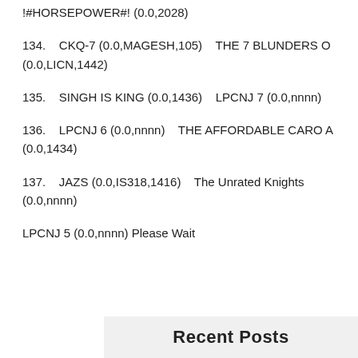!#HORSEPOWER#! (0.0,2028)
134.  ___  CKQ-7 (0.0,MAGESH,105)  ___  THE 7 BLUNDERS O (0.0,LICN,1442)
135.  ___  SINGH IS KING (0.0,1436)  ___  LPCNJ 7 (0.0,nnnn)
136.  ___  LPCNJ 6 (0.0,nnnn)  ___  THE AFFORDABLE CARO A (0.0,1434)
137.  ___  JAZS (0.0,IS318,1416)  ___  The Unrated Knights (0.0,nnnn)
LPCNJ 5 (0.0,nnnn) Please Wait
Recent Posts